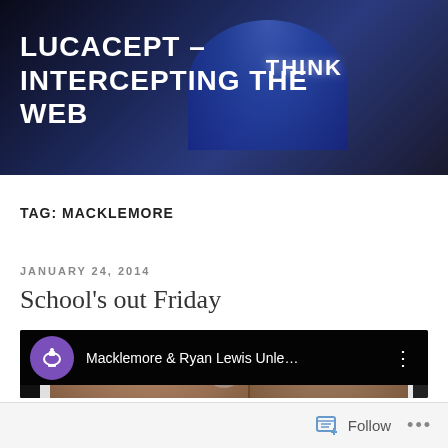[Figure (screenshot): Website header banner with dark blue background showing a dome building with 'THINK' text and site title 'LUCACEPT – INTERCEPTING THE WEB' in white bold text]
TAG: MACKLEMORE
JANUARY 24, 2014
School's out Friday
[Figure (screenshot): YouTube video thumbnail showing Macklemore & Ryan Lewis with Grammy logo and video title 'Macklemore & Ryan Lewis Unle...' Two people visible in the video scene with arms raised]
Follow ...